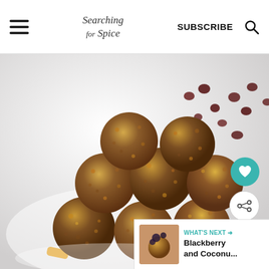Searching for Spice — SUBSCRIBE
[Figure (photo): A pile of apricot and cranberry energy balls on a white plate, with scattered dried cranberries and dried apricot pieces visible on a white background. The balls are textured with oats and fruit pieces.]
WHAT'S NEXT → Blackberry and Coconu...